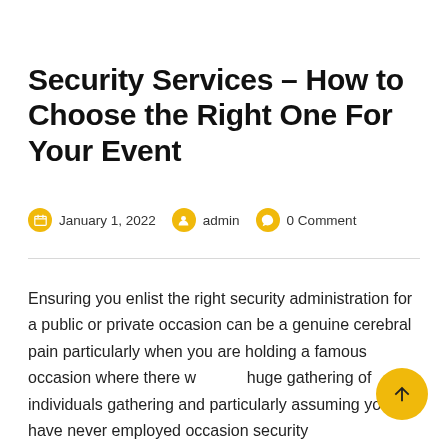Security Services – How to Choose the Right One For Your Event
January 1, 2022   admin   0 Comment
Ensuring you enlist the right security administration for a public or private occasion can be a genuine cerebral pain particularly when you are holding a famous occasion where there w… huge gathering of individuals gathering and particularly assuming you have never employed occasion security administrations from the space your occasion will be held.